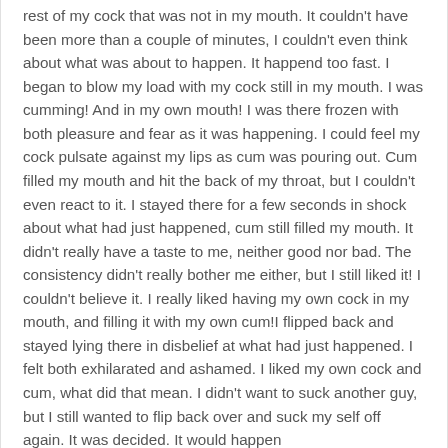rest of my cock that was not in my mouth. It couldn't have been more than a couple of minutes, I couldn't even think about what was about to happen. It happend too fast. I began to blow my load with my cock still in my mouth. I was cumming! And in my own mouth! I was there frozen with both pleasure and fear as it was happening. I could feel my cock pulsate against my lips as cum was pouring out. Cum filled my mouth and hit the back of my throat, but I couldn't even react to it. I stayed there for a few seconds in shock about what had just happened, cum still filled my mouth. It didn't really have a taste to me, neither good nor bad. The consistency didn't really bother me either, but I still liked it! I couldn't believe it. I really liked having my own cock in my mouth, and filling it with my own cum!I flipped back and stayed lying there in disbelief at what had just happened. I felt both exhilarated and ashamed. I liked my own cock and cum, what did that mean. I didn't want to suck another guy, but I still wanted to flip back over and suck my self off again. It was decided. It would happen